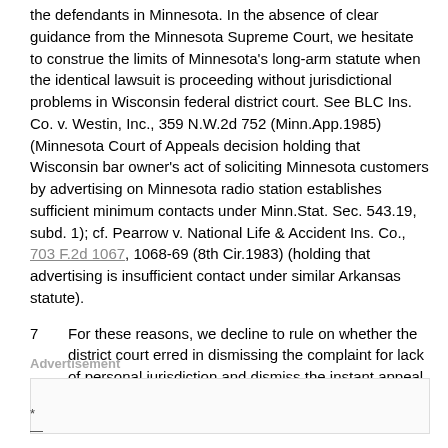the defendants in Minnesota. In the absence of clear guidance from the Minnesota Supreme Court, we hesitate to construe the limits of Minnesota's long-arm statute when the identical lawsuit is proceeding without jurisdictional problems in Wisconsin federal district court. See BLC Ins. Co. v. Westin, Inc., 359 N.W.2d 752 (Minn.App.1985) (Minnesota Court of Appeals decision holding that Wisconsin bar owner's act of soliciting Minnesota customers by advertising on Minnesota radio station establishes sufficient minimum contacts under Minn.Stat. Sec. 543.19, subd. 1); cf. Pearrow v. National Life & Accident Ins. Co., 703 F.2d 1067, 1068-69 (8th Cir.1983) (holding that advertising is insufficient contact under similar Arkansas statute).
7   For these reasons, we decline to rule on whether the district court erred in dismissing the complaint for lack of personal jurisdiction and dismiss the instant appeal with prejudice.
Advertisement
*
—